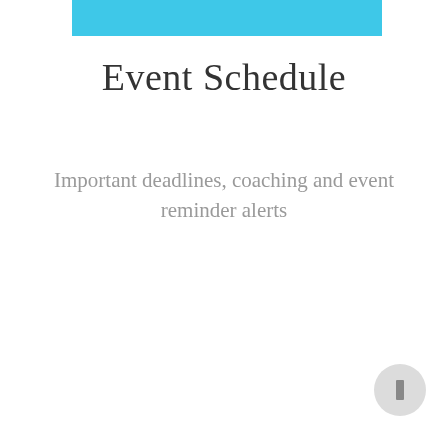[Figure (other): Cyan/light blue horizontal bar across the top of the page]
Event Schedule
Important deadlines, coaching and event reminder alerts
[Figure (other): Circular navigation button in the bottom-right corner with a small rectangular icon inside]